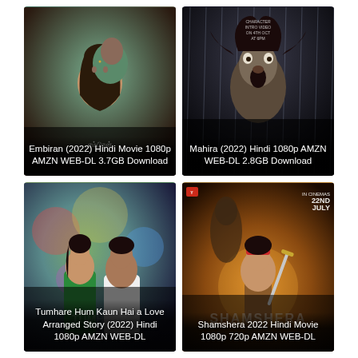[Figure (photo): Movie poster for Embiran (2022) - romantic couple, woman with eyes closed, man behind her]
Embiran (2022) Hindi Movie 1080p AMZN WEB-DL 3.7GB Download
[Figure (photo): Movie poster for Mahira (2022) - person screaming in rain, dark dramatic poster with character intro video text]
Mahira (2022) Hindi 1080p AMZN WEB-DL 2.8GB Download
[Figure (photo): Movie poster for Tumhare Hum Kaun Hai a Love Arranged Story (2022) - couple in colorful background, woman in green sari]
Tumhare Hum Kaun Hai a Love Arranged Story (2022) Hindi 1080p AMZN WEB-DL
[Figure (photo): Movie poster for Shamshera 2022 - warrior with sword, action epic, 22nd July in cinemas, Yash Raj Films]
Shamshera 2022 Hindi Movie 1080p 720p AMZN WEB-DL